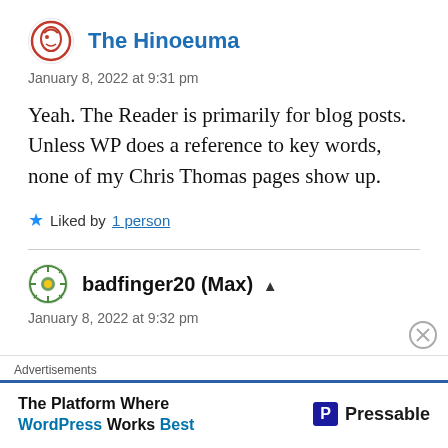[Figure (logo): The Hinoeuma avatar - red circular logo with animal figure]
The Hinoeuma
January 8, 2022 at 9:31 pm
Yeah. The Reader is primarily for blog posts. Unless WP does a reference to key words, none of my Chris Thomas pages show up.
Liked by 1 person
[Figure (logo): badfinger20 avatar - green circular mandala-style logo]
badfinger20 (Max)
January 8, 2022 at 9:32 pm
Advertisements
The Platform Where WordPress Works Best
[Figure (logo): Pressable logo]